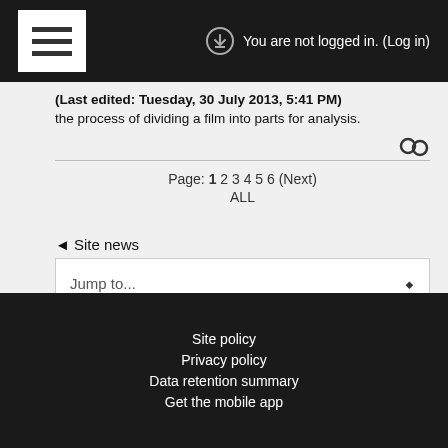You are not logged in. (Log in)
(Last edited: Tuesday, 30 July 2013, 5:41 PM)
the process of dividing a film into parts for analysis.
Page: 1 2 3 4 5 6 (Next)
ALL
◄ Site news
Jump to...
END USER SITE POLICY AGREEMENT ►
Site policy
Privacy policy
Data retention summary
Get the mobile app